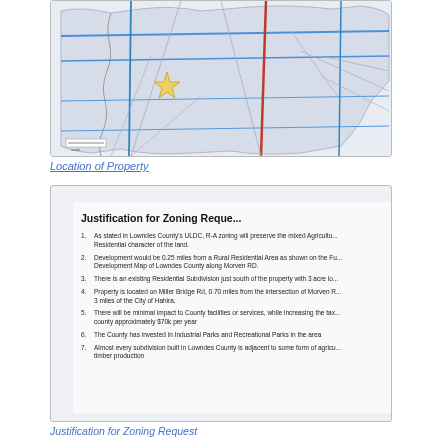[Figure (map): Road/location map showing property location marked with a star icon, featuring road networks in blue and red lines on a light background representing Lowndes County area.]
Location of Property
[Figure (screenshot): Scanned document page titled 'Justification for Zoning Request' with 7 numbered items listing reasons for the zoning request in Lowndes County.]
Justification for Zoning Request